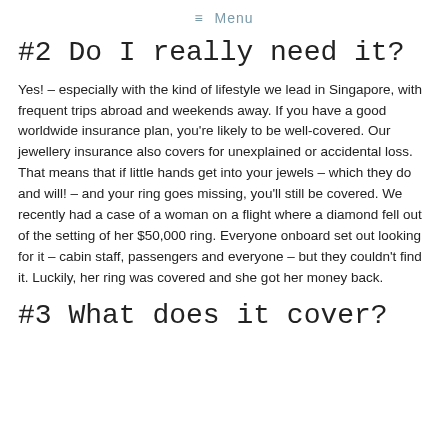≡ Menu
#2 Do I really need it?
Yes! – especially with the kind of lifestyle we lead in Singapore, with frequent trips abroad and weekends away. If you have a good worldwide insurance plan, you're likely to be well-covered. Our jewellery insurance also covers for unexplained or accidental loss. That means that if little hands get into your jewels – which they do and will! – and your ring goes missing, you'll still be covered. We recently had a case of a woman on a flight where a diamond fell out of the setting of her $50,000 ring. Everyone onboard set out looking for it – cabin staff, passengers and everyone – but they couldn't find it. Luckily, her ring was covered and she got her money back.
#3 What does it cover?